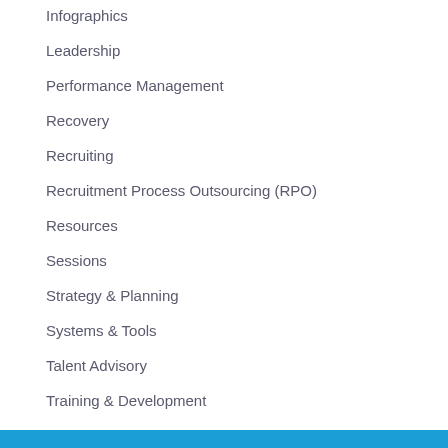Infographics
Leadership
Performance Management
Recovery
Recruiting
Recruitment Process Outsourcing (RPO)
Resources
Sessions
Strategy & Planning
Systems & Tools
Talent Advisory
Training & Development